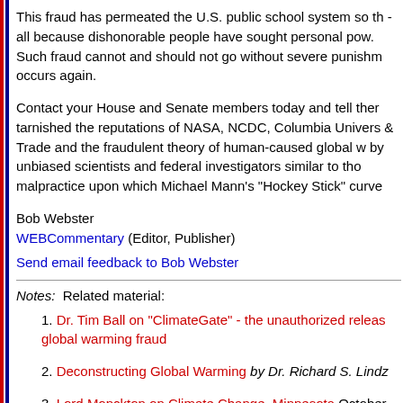This fraud has permeated the U.S. public school system so th- all because dishonorable people have sought personal pow. Such fraud cannot and should not go without severe punishm occurs again.
Contact your House and Senate members today and tell ther tarnished the reputations of NASA, NCDC, Columbia Univers& Trade and the fraudulent theory of human-caused global w by unbiased scientists and federal investigators similar to tho malpractice upon which Michael Mann's "Hockey Stick" curve
Bob Webster
WEBCommentary (Editor, Publisher)
Send email feedback to Bob Webster
Notes:  Related material:
1. Dr. Tim Ball on "ClimateGate" - the unauthorized releas global warming fraud
2. Deconstructing Global Warming by Dr. Richard S. Lindz
3. Lord Monckton on Climate Change, Minnesota October